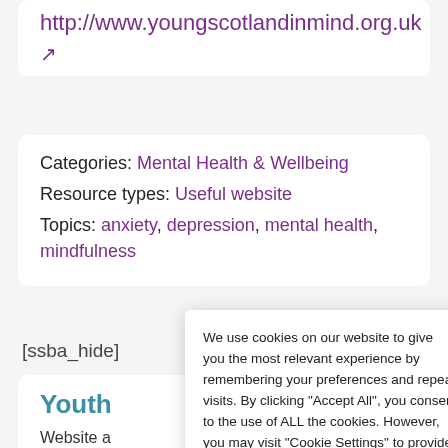http://www.youngscotlandinmind.org.uk ↗
Categories: Mental Health & Wellbeing
Resource types: Useful website
Topics: anxiety, depression, mental health, mindfulness
[ssba_hide]
Youth
Website a... health aim... suffer from these issues as well as their
We use cookies on our website to give you the most relevant experience by remembering your preferences and repeat visits. By clicking "Accept All", you consent to the use of ALL the cookies. However, you may visit "Cookie Settings" to provide a controlled consent.